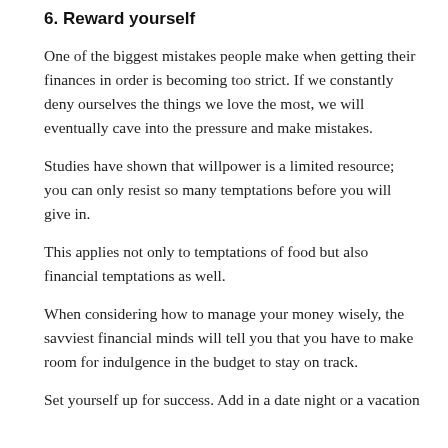6. Reward yourself
One of the biggest mistakes people make when getting their finances in order is becoming too strict. If we constantly deny ourselves the things we love the most, we will eventually cave into the pressure and make mistakes.
Studies have shown that willpower is a limited resource; you can only resist so many temptations before you will give in.
This applies not only to temptations of food but also financial temptations as well.
When considering how to manage your money wisely, the savviest financial minds will tell you that you have to make room for indulgence in the budget to stay on track.
Set yourself up for success. Add in a date night or a vacation